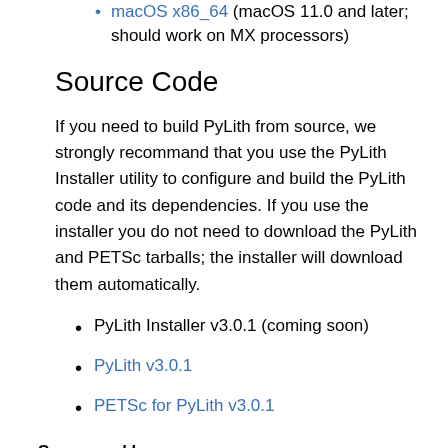macOS x86_64 (macOS 11.0 and later; should work on MX processors)
Source Code
If you need to build PyLith from source, we strongly recommand that you use the PyLith Installer utility to configure and build the PyLith code and its dependencies. If you use the installer you do not need to download the PyLith and PETSc tarballs; the installer will download them automatically.
PyLith Installer v3.0.1 (coming soon)
PyLith v3.0.1
PETSc for PyLith v3.0.1
Sponsored by
Current PyLith development is supported by